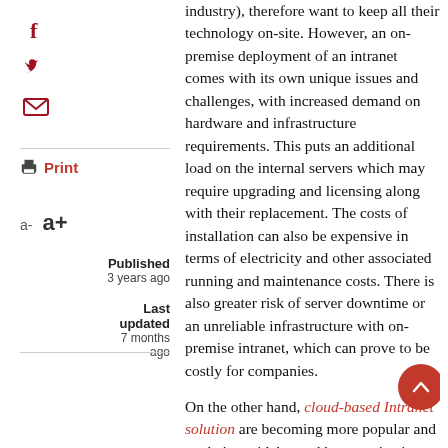[Figure (other): Social media icons: Facebook (f), Twitter bird, envelope/email in dark red/maroon color]
Print
a-  a+
Published
3 years ago
Last updated
7 months ago
industry), therefore want to keep all their technology on-site. However, an on-premise deployment of an intranet comes with its own unique issues and challenges, with increased demand on hardware and infrastructure requirements. This puts an additional load on the internal servers which may require upgrading and licensing along with their replacement. The costs of installation can also be expensive in terms of electricity and other associated running and maintenance costs. There is also greater risk of server downtime or an unreliable infrastructure with on-premise intranet, which can prove to be costly for companies.
On the other hand, cloud-based Intranet solution are becoming more popular and are being widely used by organizations.